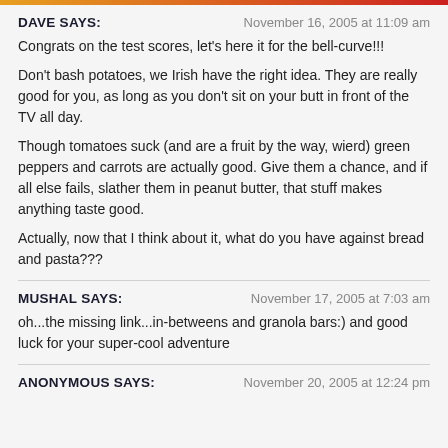DAVE SAYS:   November 16, 2005 at 11:09 am
Congrats on the test scores, let's here it for the bell-curve!!!

Don't bash potatoes, we Irish have the right idea. They are really good for you, as long as you don't sit on your butt in front of the TV all day.

Though tomatoes suck (and are a fruit by the way, wierd) green peppers and carrots are actually good. Give them a chance, and if all else fails, slather them in peanut butter, that stuff makes anything taste good.

Actually, now that I think about it, what do you have against bread and pasta???
MUSHAL SAYS:   November 17, 2005 at 7:03 am
oh...the missing link...in-betweens and granola bars:) and good luck for your super-cool adventure
ANONYMOUS SAYS:   November 20, 2005 at 12:24 pm